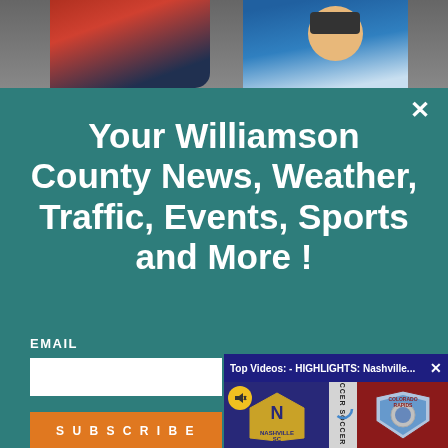[Figure (photo): Two people partially visible at the top of the page, appears to be a sports event photo.]
Your Williamson County News, Weather, Traffic, Events, Sports and More !
EMAIL
SUBSCRIBE
[Figure (screenshot): Video player overlay showing 'Top Videos: - HIGHLIGHTS: Nashville...' with Nashville SC vs Colorado Rapids soccer match thumbnail, with a mute button and close button.]